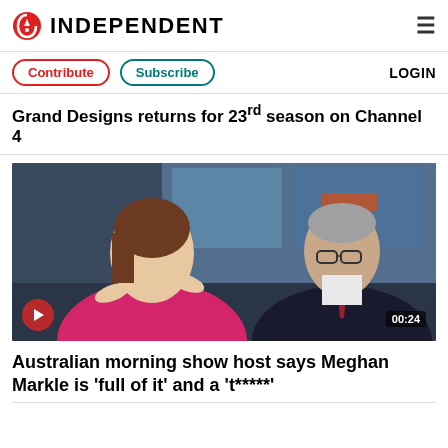INDEPENDENT
Contribute | Subscribe | LOGIN
Grand Designs returns for 23rd season on Channel 4
[Figure (photo): Two TV presenters on a morning show set, woman in pink top gesturing, man in dark suit with patterned tie, city backdrop visible. Video thumbnail with play button and 00:24 duration counter.]
Australian morning show host says Meghan Markle is 'full of it' and a 't*****'